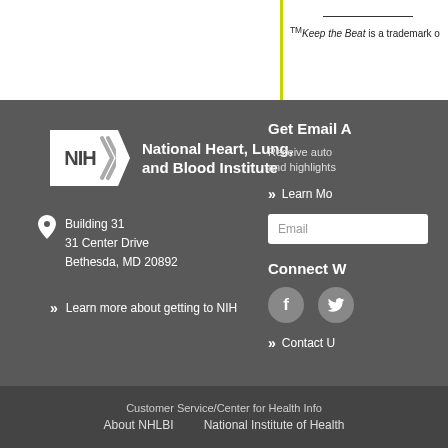™Keep the Beat is a trademark o
[Figure (logo): NIH National Heart, Lung, and Blood Institute logo]
Building 31
31 Center Drive
Bethesda, MD 20892
Learn more about getting to NIH
Get Email A
Receive auto and highlights
Learn Mo
Email
Connect W
Contact U
Customer Service/Center for Health Infor
About NHLBI    National Institute of Health